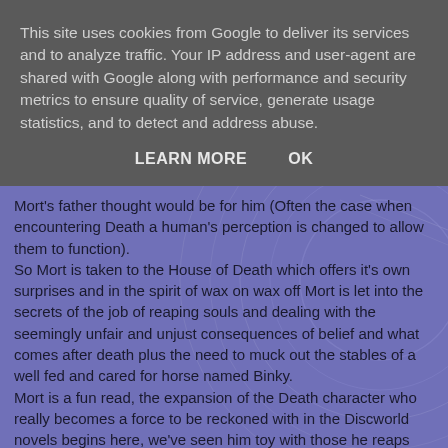This site uses cookies from Google to deliver its services and to analyze traffic. Your IP address and user-agent are shared with Google along with performance and security metrics to ensure quality of service, generate usage statistics, and to detect and address abuse.
LEARN MORE    OK
Mort's father thought would be for him (Often the case when encountering Death a human's perception is changed to allow them to function).
So Mort is taken to the House of Death which offers it's own surprises and in the spirit of wax on wax off Mort is let into the secrets of the job of reaping souls and dealing with the seemingly unfair and unjust consequences of belief and what comes after death plus the need to muck out the stables of a well fed and cared for horse named Binky.
Mort is a fun read, the expansion of the Death character who really becomes a force to be reckoned with in the Discworld novels begins here, we've seen him toy with those he reaps and in many cases (Rincewind for example) interact indirectly but here he is a real "flesh and blood" being so to